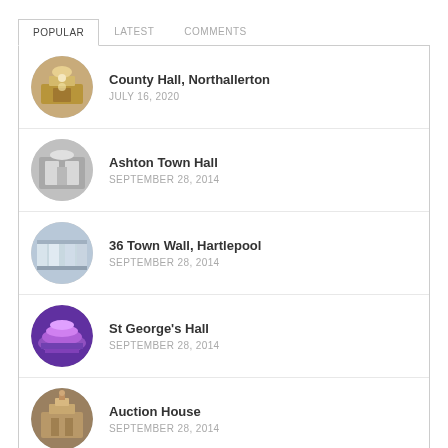POPULAR | LATEST | COMMENTS
County Hall, Northallerton
JULY 16, 2020
Ashton Town Hall
SEPTEMBER 28, 2014
36 Town Wall, Hartlepool
SEPTEMBER 28, 2014
St George's Hall
SEPTEMBER 28, 2014
Auction House
SEPTEMBER 28, 2014
Categories